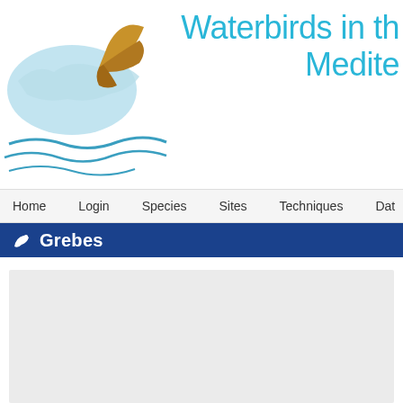[Figure (logo): Waterbirds in the Mediterranean logo with light blue map of Mediterranean region, golden flying bird, and blue wave lines]
Waterbirds in the Mediterranean
Home   Login   Species   Sites   Techniques   Data
Grebes
[Figure (other): Gray placeholder content box]
Little Grebe
Tachybaptus ruficollis
The smallest of the grebes. Rounded head. Body dumpy, rear truncated small straight bill. No white in the wing in flight.
Adult breeding: crown black. Cheeks and foreneck brown-red. Yellow g